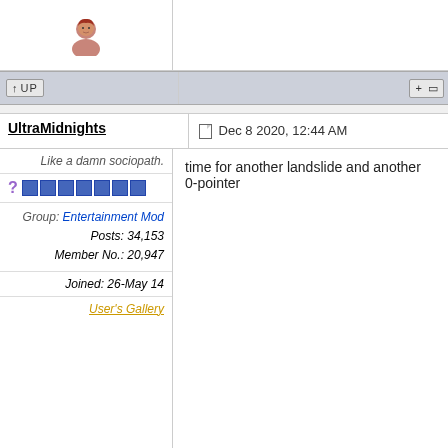[Figure (photo): Small avatar image of a person with reddish hair, top row]
↑ UP
+ □
UltraMidnights
Dec 8 2020, 12:44 AM
Like a damn sociopath.
Group: Entertainment Mod
Posts: 34,153
Member No.: 20,947
Joined: 26-May 14
User's Gallery
time for another landslide and another 0-pointer
[Figure (photo): Small avatar image of a person with reddish hair, bottom row]